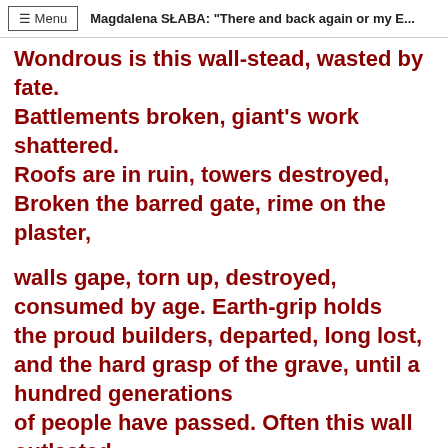≡ Menu   Magdalena SŁABA: "There and back again or my E..."
Wondrous is this wall-stead, wasted by fate.
Battlements broken, giant's work shattered.
Roofs are in ruin, towers destroyed,
Broken the barred gate, rime on the plaster,

walls gape, torn up, destroyed,
consumed by age. Earth-grip holds
the proud builders, departed, long lost,
and the hard grasp of the grave, until a
hundred generations
of people have passed. Often this wall outlasted,

hoary with lichen, red-stained, withstanding
the storm,